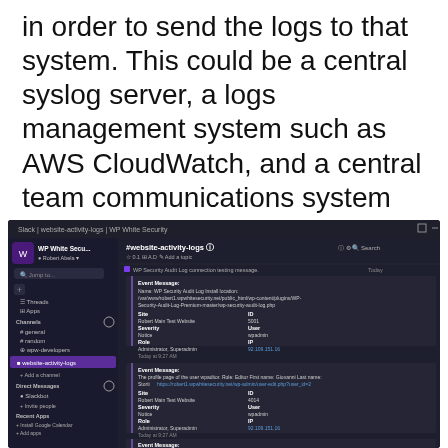in order to send the logs to that system. This could be a central syslog server, a logs management system such as AWS CloudWatch, and a central team communications system such as Slack. In plainer terms, this aspect is a lot like integration, but on a deeper level.
[Figure (screenshot): Screenshot of Slack desktop application showing the #website-activity-logs channel for WP White Security plugin. The sidebar shows channels including general, random, wpw-developers, and website-activity-logs highlighted. The main panel shows event messages from WP Security Audit Log including install location path, site details (Robert Main Test Website), ID (5001), Severity (Notice), User (wpadmin), Role (Administrator, Superadmin), IP (92.109.151.16), and additional event messages about user wpeditor profile page and role changes.]